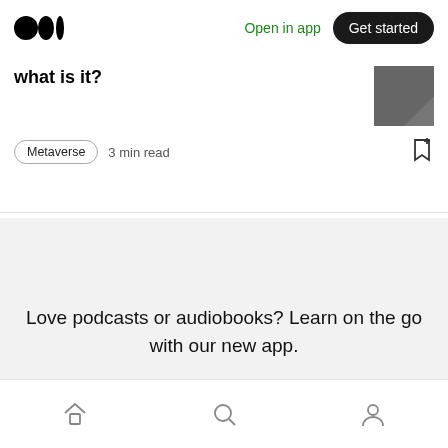Medium logo | Open in app | Get started
what is it?
Metaverse   3 min read
Love podcasts or audiobooks? Learn on the go with our new app.
Try Knowable
Home | Search | Profile